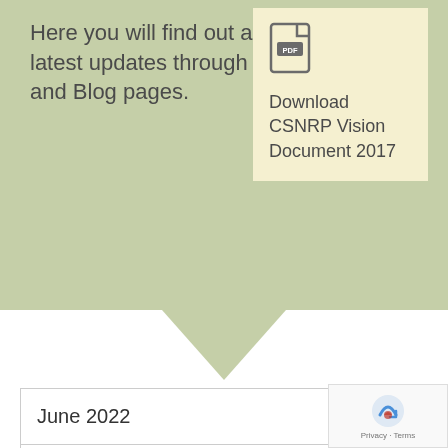Here you will find out all of our latest updates through News and Blog pages.
[Figure (other): PDF download icon with label 'Download CSNRP Vision Document 2017' in a cream-colored box]
June 2022
February 2022
[Figure (other): reCAPTCHA badge overlay with Privacy · Terms text]